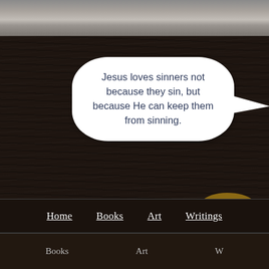[Figure (screenshot): Website screenshot showing a dark wood-textured background with a speech bubble containing a religious quote, a shepherd's crook object partially visible in the lower right, navigation bars at the bottom with Home, Books, Art, Writings links, and a grey shelf/ledge at the top.]
Jesus loves sinners not because they sin, but because He can keep them from sinning.
Home   Books   Art   Writings
Books   Art   W